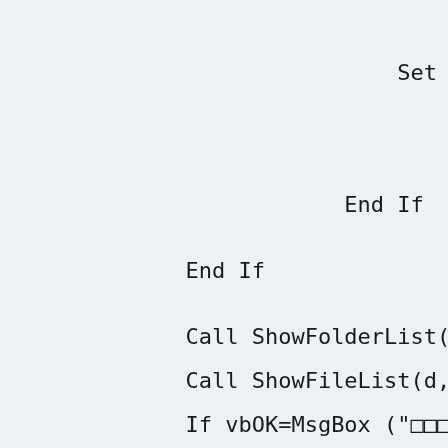Set MyFile

    MyFile.Dele

        End If

    End If

    Call ShowFolderList(d,nAttr

    Call ShowFileList(d,nAttr)

    If vbOK=MsgBox ("□□□□□□□□□□

    "Simple U-disk Repair Tool"

        expldrv="Explorer.e